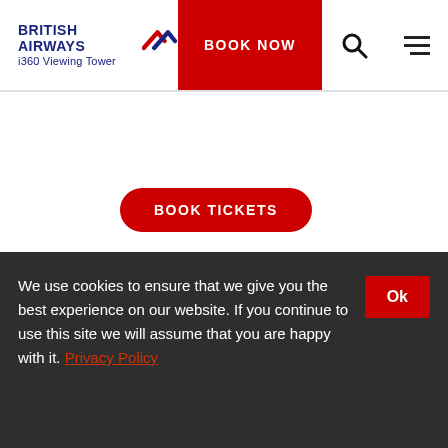BRITISH AIRWAYS i360 Viewing Tower | BOOK NOW
BOOK TICKETS
OPENING HOURS
Escape to the sky with BA i360!
Start planning your trip below, with information on opening times, group
We use cookies to ensure that we give you the best experience on our website. If you continue to use this site we will assume that you are happy with it. Privacy Policy